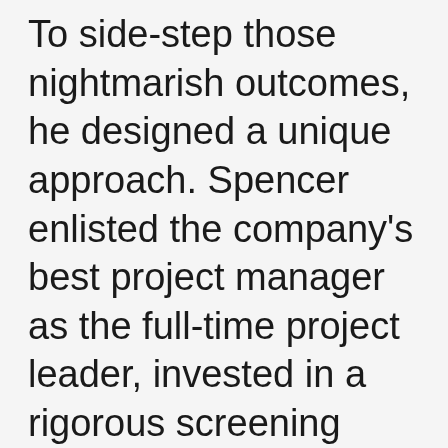To side-step those nightmarish outcomes, he designed a unique approach. Spencer enlisted the company's best project manager as the full-time project leader, invested in a rigorous screening process to hire an elite implementation partner, set aside ample budget for unexpected contingencies, seeded the project team with A-players (priming them with performance